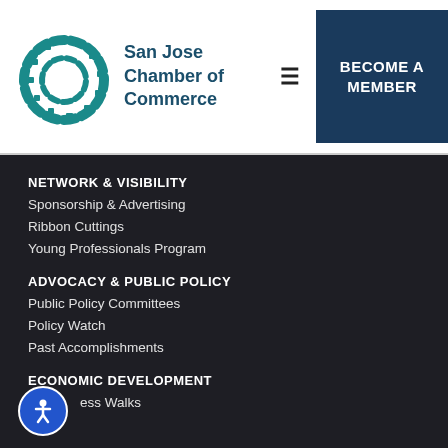[Figure (logo): San Jose Chamber of Commerce logo with teal circular C icon]
San Jose Chamber of Commerce
NETWORK & VISIBILITY
Sponsorship & Advertising
Ribbon Cuttings
Young Professionals Program
ADVOCACY & PUBLIC POLICY
Public Policy Committees
Policy Watch
Past Accomplishments
ECONOMIC DEVELOPMENT
ess Walks